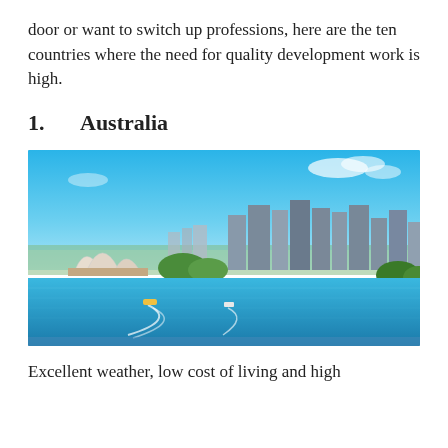door or want to switch up professions, here are the ten countries where the need for quality development work is high.
1.    Australia
[Figure (photo): Aerial panoramic view of Sydney, Australia showing the Sydney Opera House on the left, the city skyline with skyscrapers in the center-right, and Sydney Harbour with boats and ferries in the foreground under a bright blue sky.]
Excellent weather, low cost of living and high